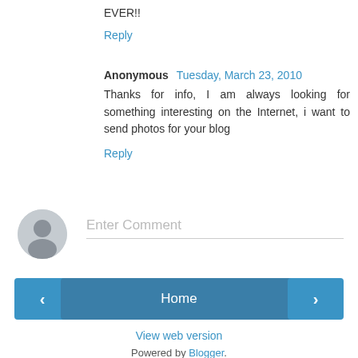EVER!!
Reply
Anonymous Tuesday, March 23, 2010
Thanks for info, I am always looking for something interesting on the Internet, i want to send photos for your blog
Reply
[Figure (illustration): User avatar placeholder circle with silhouette icon]
Enter Comment
Home
View web version
Powered by Blogger.